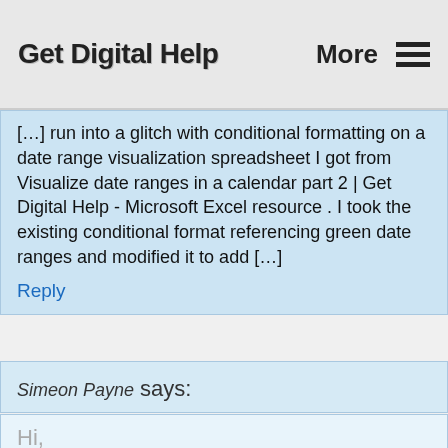Get Digital Help   More ≡
[…] run into a glitch with conditional formatting on a date range visualization spreadsheet I got from Visualize date ranges in a calendar part 2 | Get Digital Help - Microsoft Excel resource . I took the existing conditional format referencing green date ranges and modified it to add […]
Reply
Simeon Payne says:
Hi,